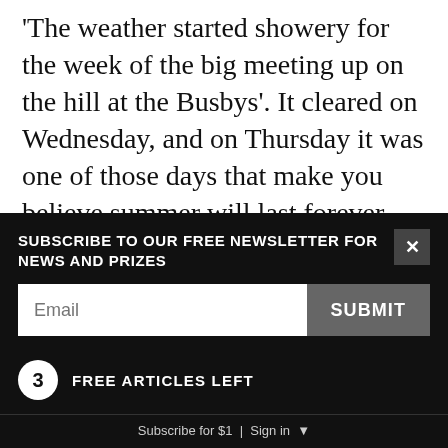'The weather started showery for the week of the big meeting up on the hill at the Busbys'. It cleared on Wednesday, and on Thursday it was one of those days that make you believe summer will last forever. Colenso wrote that even the cicadas “sang livelier than usual. Everything, in fact, wore the appearance of cheerfulness and activity.”
The day was like a big picnic outing, even for the uninvited hangers-on, and as the crowds walked up the hill to see what was happening they could buy their lunches at takeaway stalls beside the track:
SUBSCRIBE TO OUR FREE NEWSLETTER FOR NEWS AND PRIZES
Email
SUBMIT
3  FREE ARTICLES LEFT
Subscribe for $1  |  Sign in